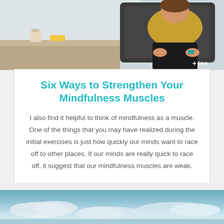[Figure (photo): A person sitting in an office chair, wearing a yellow top and dark pants, with a desk and room visible in the background. Fitbit logo in bottom right corner.]
Six Ways to Strengthen Your Mindfulness Muscles
I also find it helpful to think of mindfulness as a muscle. One of the things that you may have realized during the initial exercises is just how quickly our minds want to race off to other places. If our minds are really quick to race off, it suggest that our mindfulness muscles are weak.
[Figure (photo): A scenic outdoor photo showing a sky with clouds over what appears to be a body of water or landscape.]